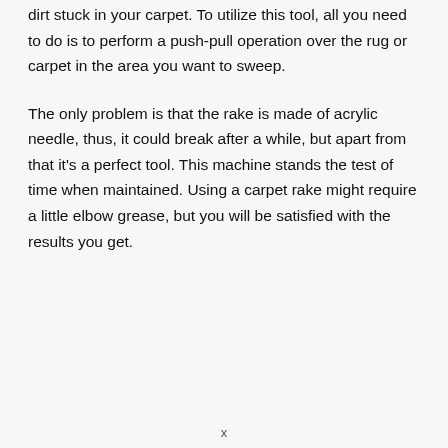dirt stuck in your carpet. To utilize this tool, all you need to do is to perform a push-pull operation over the rug or carpet in the area you want to sweep.
The only problem is that the rake is made of acrylic needle, thus, it could break after a while, but apart from that it's a perfect tool. This machine stands the test of time when maintained. Using a carpet rake might require a little elbow grease, but you will be satisfied with the results you get.
x